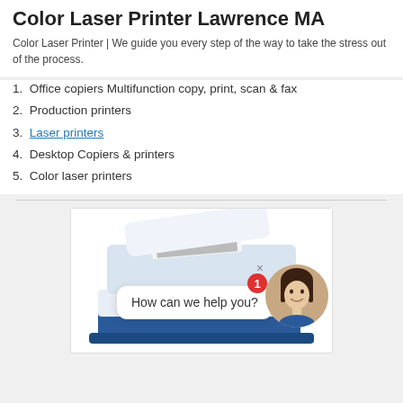Color Laser Printer Lawrence MA
Color Laser Printer | We guide you every step of the way to take the stress out of the process.
1. Office copiers Multifunction copy, print, scan & fax
2. Production printers
3. Laser printers
4. Desktop Copiers & printers
5. Color laser printers
[Figure (photo): A blue and white multifunction color laser printer/copier with an open document feeder. A chat bubble overlay reads 'How can we help you?' with a badge showing '1' and a female avatar photo on the right side.]